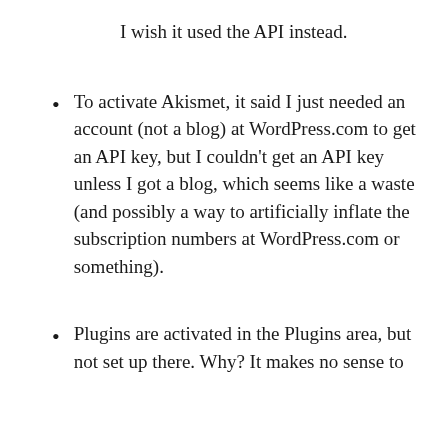I wish it used the API instead.
To activate Akismet, it said I just needed an account (not a blog) at WordPress.com to get an API key, but I couldn't get an API key unless I got a blog, which seems like a waste (and possibly a way to artificially inflate the subscription numbers at WordPress.com or something).
Plugins are activated in the Plugins area, but not set up there. Why? It makes no sense to